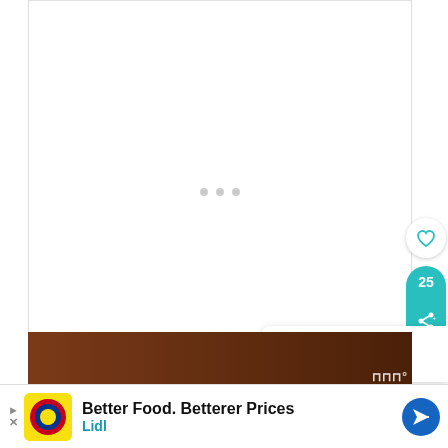[Figure (screenshot): White content area with three grey loading dots centered, representing a loading/blank web page content area]
[Figure (infographic): Sidebar UI elements: a white circular heart/like button and a teal pill-shaped button showing the number 25 and a share icon]
[Figure (infographic): What's Next recommendation bar showing a food image thumbnail and the text 'WHAT'S NEXT → Easy 5-Ingredient...']
[Figure (photo): Bottom portion of a food photo with brown/dark warm tones]
[Figure (screenshot): Advertisement bar at bottom: Lidl ad with yellow logo, text 'Better Food. Betterer Prices' and 'Lidl', with navigation arrow icon]